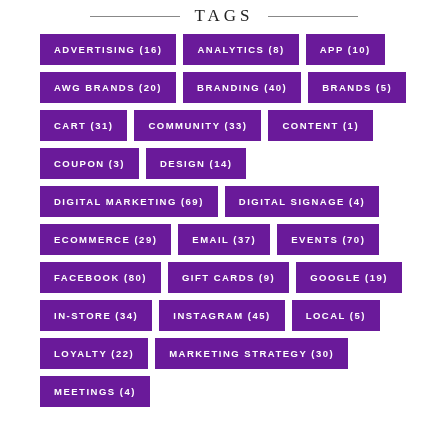TAGS
ADVERTISING (16)
ANALYTICS (8)
APP (10)
AWG BRANDS (20)
BRANDING (40)
BRANDS (5)
CART (31)
COMMUNITY (33)
CONTENT (1)
COUPON (3)
DESIGN (14)
DIGITAL MARKETING (69)
DIGITAL SIGNAGE (4)
ECOMMERCE (29)
EMAIL (37)
EVENTS (70)
FACEBOOK (80)
GIFT CARDS (9)
GOOGLE (19)
IN-STORE (34)
INSTAGRAM (45)
LOCAL (5)
LOYALTY (22)
MARKETING STRATEGY (30)
MEETINGS (4)